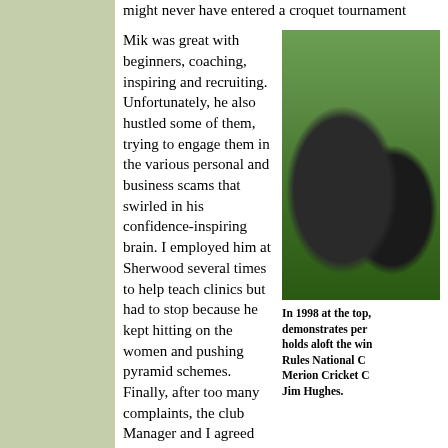might never have entered a croquet tournament
Mik was great with beginners, coaching, inspiring and recruiting. Unfortunately, he also hustled some of them, trying to engage them in the various personal and business scams that swirled in his confidence-inspiring brain. I employed him at Sherwood several times to help teach clinics but had to stop because he kept hitting on the women and pushing pyramid schemes. Finally, after too many complaints, the club Manager and I agreed that Mik would have to ply his wares elsewhere. He just couldn’t help himself. And so he burned another bridge.
[Figure (photo): Two men standing outdoors, one holding something aloft, in front of a building. Black and white or color photo from 1998.]
In 1998 at the to demonstrates pe holds aloft the wi Rules National C Merion Cricket C Jim Hughes.
Mik was always hustling. Once, I asked him how he could afford to go to so many